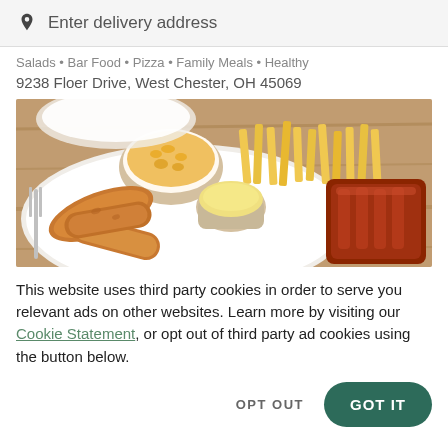Enter delivery address
Salads • Bar Food • Pizza • Family Meals • Healthy
9238 Floer Drive, West Chester, OH 45069
[Figure (photo): A restaurant plate with fried chicken tenders, mac and cheese in a bowl, french fries, a small bowl of dipping sauce, and BBQ ribs on a white plate on a wooden table.]
This website uses third party cookies in order to serve you relevant ads on other websites. Learn more by visiting our Cookie Statement, or opt out of third party ad cookies using the button below.
OPT OUT
GOT IT